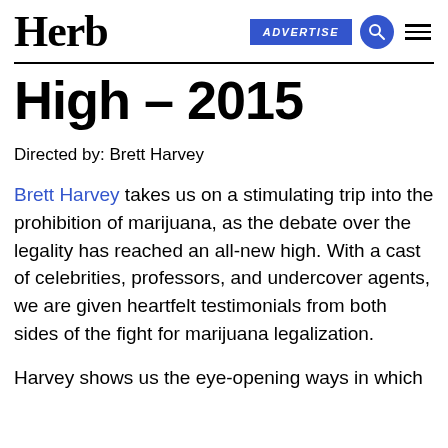Herb | ADVERTISE
High – 2015
Directed by: Brett Harvey
Brett Harvey takes us on a stimulating trip into the prohibition of marijuana, as the debate over the legality has reached an all-new high. With a cast of celebrities, professors, and undercover agents, we are given heartfelt testimonials from both sides of the fight for marijuana legalization.
Harvey shows us the eye-opening ways in which